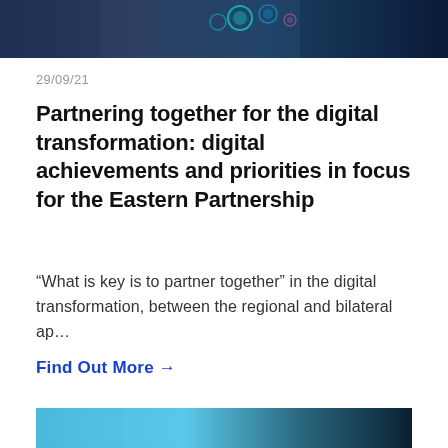[Figure (photo): Dark blue digital/technology themed background image with glowing teal circles, top portion of the page]
29/09/21
Partnering together for the digital transformation: digital achievements and priorities in focus for the Eastern Partnership
“What is key is to partner together” in the digital transformation, between the regional and bilateral ap…
Find Out More →
[Figure (photo): Blue-toned digital/technology image, bottom portion of the page, partially visible]